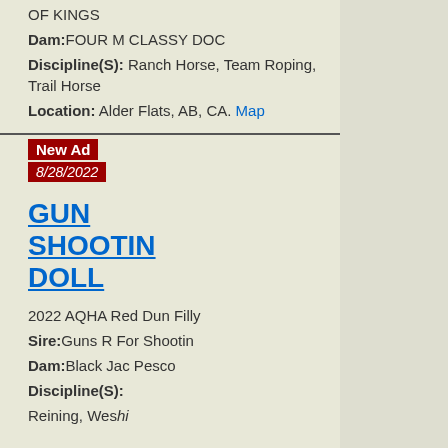OF KINGS
Dam: FOUR M CLASSY DOC
Discipline(S): Ranch Horse, Team Roping, Trail Horse
Location: Alder Flats, AB, CA. Map
New Ad 8/28/2022
GUN SHOOTIN DOLL
2022 AQHA Red Dun Filly
Sire: Guns R For Shootin
Dam: Black Jac Pesco
Discipline(S):